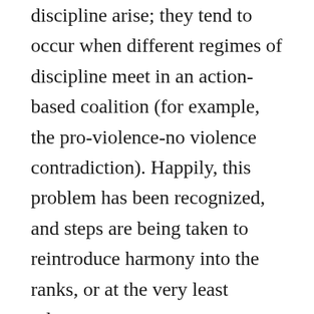discipline arise; they tend to occur when different regimes of discipline meet in an action-based coalition (for example, the pro-violence-no violence contradiction). Happily, this problem has been recognized, and steps are being taken to reintroduce harmony into the ranks, or at the very least tolerance.
Resistant tactics share the interest in reactivity, but do so in a qualitative manner due to their relationship with specificity, immediacy, and at times intimacy. Consequently, tacticality is more fluid because it does not have to be focused on efficiency and optimization. It has a place for the nonrational; it has the luxury of seeing individuals as more than a force to be brought to a field of contestation. And finally, tactics can fail without necessarily leading to the demise of a front